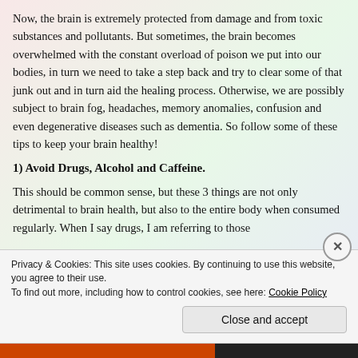Now, the brain is extremely protected from damage and from toxic substances and pollutants. But sometimes, the brain becomes overwhelmed with the constant overload of poison we put into our bodies, in turn we need to take a step back and try to clear some of that junk out and in turn aid the healing process. Otherwise, we are possibly subject to brain fog, headaches, memory anomalies, confusion and even degenerative diseases such as dementia. So follow some of these tips to keep your brain healthy!
1) Avoid Drugs, Alcohol and Caffeine.
This should be common sense, but these 3 things are not only detrimental to brain health, but also to the entire body when consumed regularly. When I say drugs, I am referring to those
Privacy & Cookies: This site uses cookies. By continuing to use this website, you agree to their use.
To find out more, including how to control cookies, see here: Cookie Policy
Close and accept